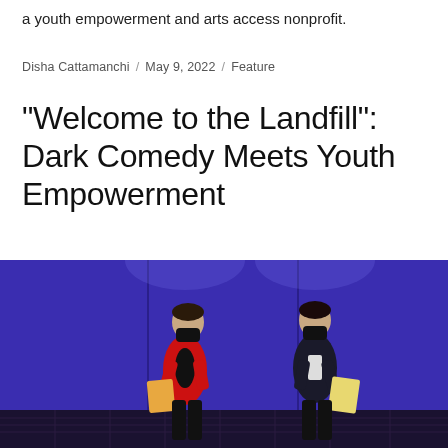a youth empowerment and arts access nonprofit.
Disha Cattamanchi / May 9, 2022 / Feature
“Welcome to the Landfill”: Dark Comedy Meets Youth Empowerment
[Figure (photo): Two performers on stage with a deep blue/purple backdrop, both wearing black face masks and holding orange/yellow scripts or papers. The performer on the left wears a bright red jacket, the one on the right wears a dark jacket. Stage lighting illuminates them from above.]